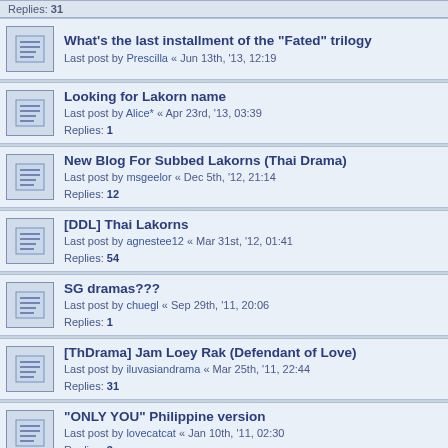Replies: 31
What's the last installment of the "Fated" trilogy
Last post by Prescilla « Jun 13th, '13, 12:19
Looking for Lakorn name
Last post by Alice* « Apr 23rd, '13, 03:39
Replies: 1
New Blog For Subbed Lakorns (Thai Drama)
Last post by msgeelor « Dec 5th, '12, 21:14
Replies: 12
[DDL] Thai Lakorns
Last post by agnestee12 « Mar 31st, '12, 01:41
Replies: 54
SG dramas???
Last post by chuegl « Sep 29th, '11, 20:06
Replies: 1
[ThDrama] Jam Loey Rak (Defendant of Love)
Last post by iluvasiandrama « Mar 25th, '11, 22:44
Replies: 31
"ONLY YOU" Philippine version
Last post by lovecatcat « Jan 10th, '11, 02:30
Replies: 3
Does anyone here listen to Charice???
Last post by lovecatcat « Jan 10th, '11, 02:25
Replies: 3
Looking for spanish Dramas
Last post by protto « Jul 1st, '13, 15:47
Replies: 2
Vietnamese movies/dramas subbed in English
Last post by lim_ryan « Jul 19th, '10, 14:58
Replies: 15